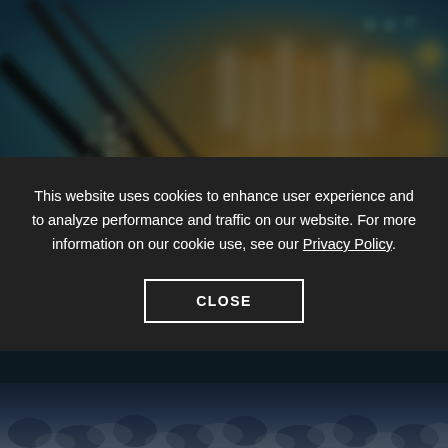[Figure (photo): Blurred close-up photo of a circuit board with teal/green and warm gold/orange bokeh lighting effects, showing electronic components and connectors at an angle.]
Speakers Engagement
Agustin Moreno — Director, DTE Energy, Summer Talent Exposure...
[Figure (photo): Blue/silver puzzle pieces photo strip at the bottom of the page.]
This website uses cookies to enhance user experience and to analyze performance and traffic on our website. For more information on our cookie use, see our Privacy Policy.
CLOSE